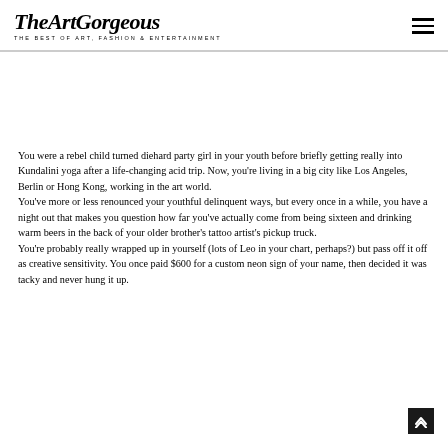TheArtGorgeous — THE BEST OF ART, FASHION & ENTERTAINMENT
You were a rebel child turned diehard party girl in your youth before briefly getting really into Kundalini yoga after a life-changing acid trip. Now, you're living in a big city like Los Angeles, Berlin or Hong Kong, working in the art world.
You've more or less renounced your youthful delinquent ways, but every once in a while, you have a night out that makes you question how far you've actually come from being sixteen and drinking warm beers in the back of your older brother's tattoo artist's pickup truck.
You're probably really wrapped up in yourself (lots of Leo in your chart, perhaps?) but pass off it off as creative sensitivity. You once paid $600 for a custom neon sign of your name, then decided it was tacky and never hung it up.